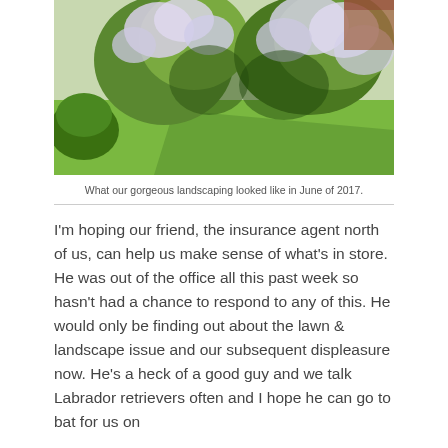[Figure (photo): Photograph of gorgeous landscaping featuring large flowering shrubs with white/purple blooms against a green lawn and brick building in the background, taken in June 2017.]
What our gorgeous landscaping looked like in June of 2017.
I'm hoping our friend, the insurance agent north of us, can help us make sense of what's in store. He was out of the office all this past week so hasn't had a chance to respond to any of this. He would only be finding out about the lawn & landscape issue and our subsequent displeasure now. He's a heck of a good guy and we talk Labrador retrievers often and I hope he can go to bat for us on